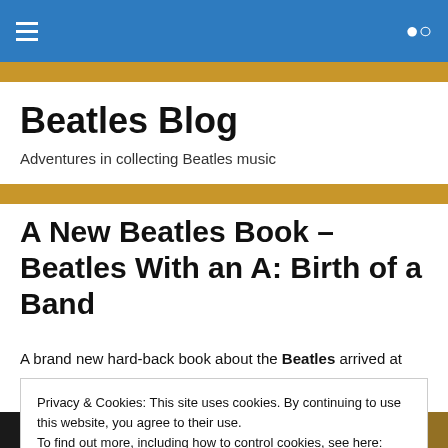Beatles Blog — navigation bar with hamburger menu and search icon
Beatles Blog
Adventures in collecting Beatles music
A New Beatles Book – Beatles With an A: Birth of a Band
A brand new hard-back book about the Beatles arrived at
Privacy & Cookies: This site uses cookies. By continuing to use this website, you agree to their use.
To find out more, including how to control cookies, see here: Cookie Policy
Close and accept
[Figure (photo): Partial view of a Beatles book cover showing stylized text 'Beatles' in bold lettering, black and white]